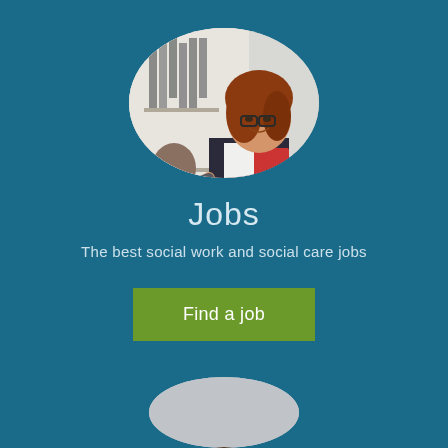[Figure (photo): Circular cropped photo of a smiling woman with red hair and glasses in a business suit, shaking hands in an office setting, holding a red folder]
Jobs
The best social work and social care jobs
Find a job
[Figure (photo): Circular cropped photo showing the top of a person with curly dark hair, partially visible at the bottom of the page]